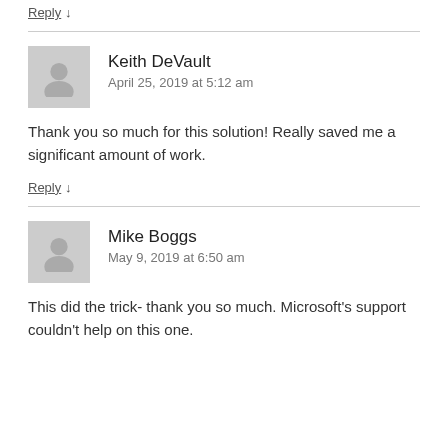Reply ↓
Keith DeVault
April 25, 2019 at 5:12 am
Thank you so much for this solution! Really saved me a significant amount of work.
Reply ↓
Mike Boggs
May 9, 2019 at 6:50 am
This did the trick- thank you so much. Microsoft's support couldn't help on this one.